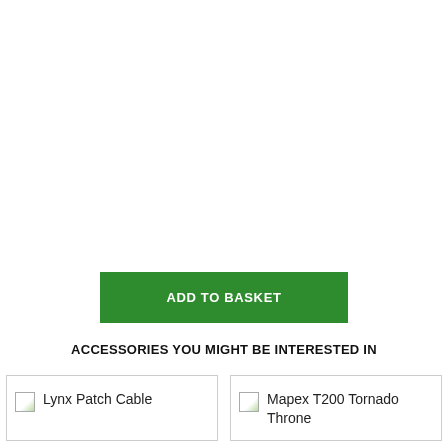ADD TO BASKET
ACCESSORIES YOU MIGHT BE INTERESTED IN
Lynx Patch Cable
Mapex T200 Tornado Throne